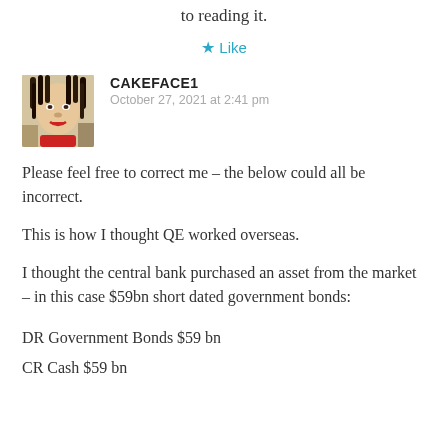to reading it.
Like
CAKEFACE1
October 27, 2021 at 2:41 pm
Please feel free to correct me – the below could all be incorrect.
This is how I thought QE worked overseas.
I thought the central bank purchased an asset from the market – in this case $59bn short dated government bonds:
DR Government Bonds $59 bn
CR Cash $59 bn